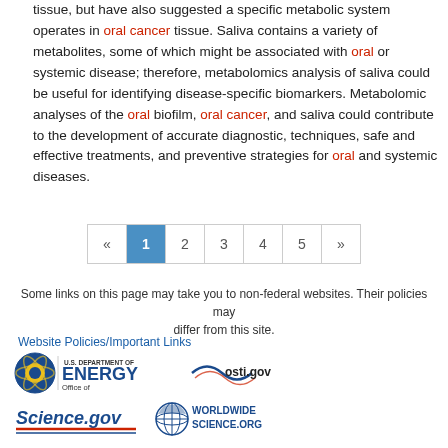tissue, but have also suggested a specific metabolic system operates in oral cancer tissue. Saliva contains a variety of metabolites, some of which might be associated with oral or systemic disease; therefore, metabolomics analysis of saliva could be useful for identifying disease-specific biomarkers. Metabolomic analyses of the oral biofilm, oral cancer, and saliva could contribute to the development of accurate diagnostic, techniques, safe and effective treatments, and preventive strategies for oral and systemic diseases.
[Figure (other): Pagination control showing pages « 1 2 3 4 5 »  with page 1 highlighted in blue]
Some links on this page may take you to non-federal websites. Their policies may differ from this site.
Website Policies/Important Links
[Figure (logo): U.S. Department of Energy Office of Science logo, osti.gov logo, Science.gov logo, WorldWideScience.org logo]